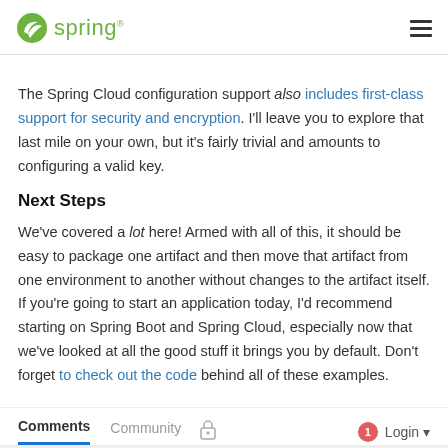spring
The Spring Cloud configuration support also includes first-class support for security and encryption. I'll leave you to explore that last mile on your own, but it's fairly trivial and amounts to configuring a valid key.
Next Steps
We've covered a lot here! Armed with all of this, it should be easy to package one artifact and then move that artifact from one environment to another without changes to the artifact itself. If you're going to start an application today, I'd recommend starting on Spring Boot and Spring Cloud, especially now that we've looked at all the good stuff it brings you by default. Don't forget to check out the code behind all of these examples.
Comments  Community  Login